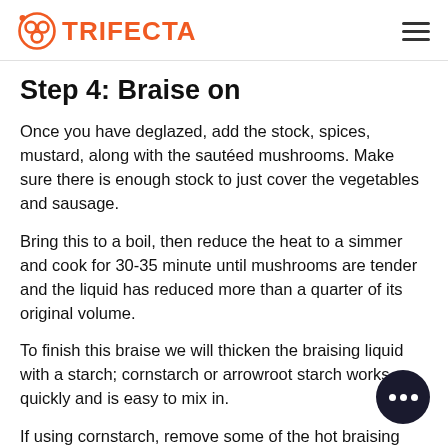TRIFECTA
Step 4: Braise on
Once you have deglazed, add the stock, spices, mustard, along with the sautéed mushrooms. Make sure there is enough stock to just cover the vegetables and sausage.
Bring this to a boil, then reduce the heat to a simmer and cook for 30-35 minute until mushrooms are tender and the liquid has reduced more than a quarter of its original volume.
To finish this braise we will thicken the braising liquid with a starch; cornstarch or arrowroot starch works quickly and is easy to mix in.
If using cornstarch, remove some of the hot braising